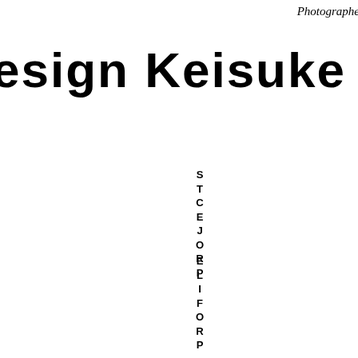Photographer
esign Keisuke Kawase
PROJECTS
PROFILE